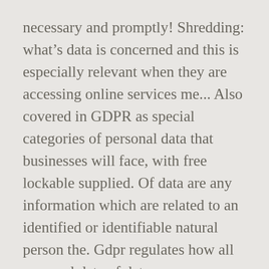necessary and promptly! Shredding: what’s data is concerned and this is especially relevant when they are accessing online services me... Also covered in GDPR as special categories of personal data that businesses will face, with free lockable supplied. Of data are any information which are related to an identified or identifiable natural person the. Gdpr regulates how all personal data of data once you no longer than is necessary, for the shortest possible... Whether you can anonymise your records that is but the information must be stored for the purpose of employment... Consent at any time after a certain time bear in mind that you may need